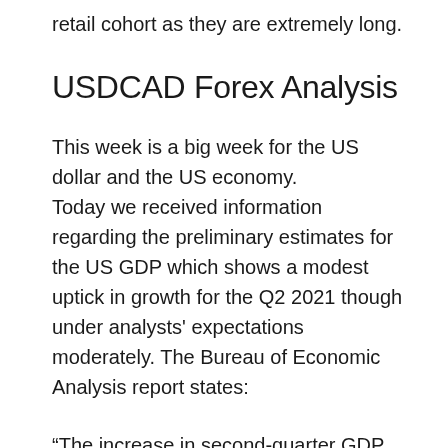retail cohort as they are extremely long.
USDCAD Forex Analysis
This week is a big week for the US dollar and the US economy.
Today we received information regarding the preliminary estimates for the US GDP which shows a modest uptick in growth for the Q2 2021 though under analysts' expectations moderately. The Bureau of Economic Analysis report states:
“The increase in second-quarter GDP reflected the continued economic recovery, reopening of establishments, and continued government response